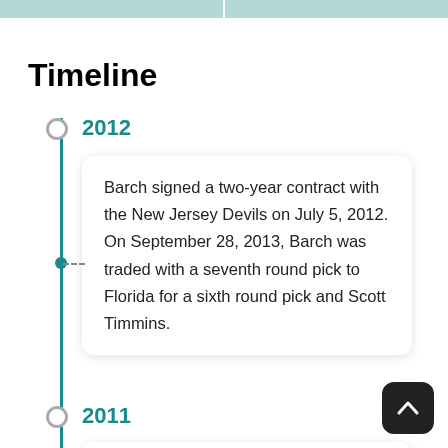Timeline
2012
Barch signed a two-year contract with the New Jersey Devils on July 5, 2012. On September 28, 2013, Barch was traded with a seventh round pick to Florida for a sixth round pick and Scott Timmins.
2011
On December 7, 2011, the Dallas Stars traded Barch and a 6th-round pick in the 2012 draft, to the Florida Panthers in exchange for the minor